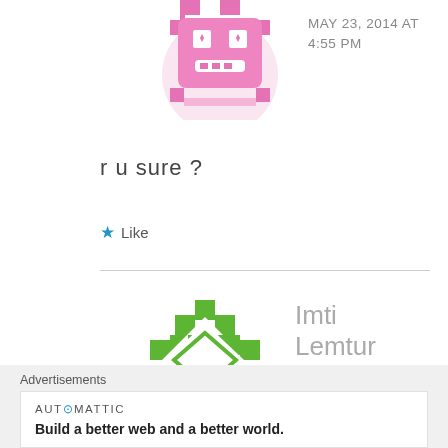[Figure (illustration): Pink/magenta pixel-art avatar icon, partially cropped at top]
MAY 23, 2014 AT 4:55 PM
r u sure ?
★ Like
[Figure (illustration): Green geometric diamond/rhombus shape avatar icon for Imti Lemtur]
Imti Lemtur
JUNE 5, 2014 AT 1:33 PM
GOT IT finally!!!
Advertisements
AUTOMATTIC
Build a better web and a better world.